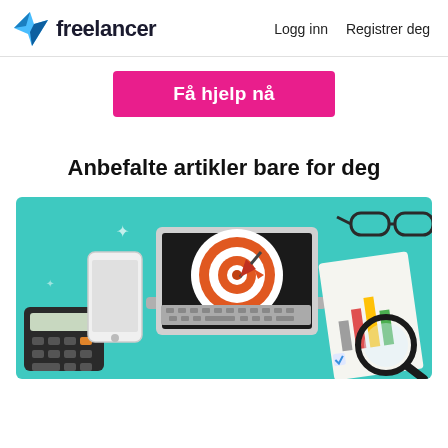freelancer  Logg inn  Registrer deg
Få hjelp nå
Anbefalte artikler bare for deg
[Figure (illustration): Flat-style illustration of a desk workspace from top-down view on a teal background, featuring a laptop with a target/bullseye on screen and a dart/rocket hitting it, a smartphone, a calculator, eyeglasses, and a chart paper with a magnifying glass.]